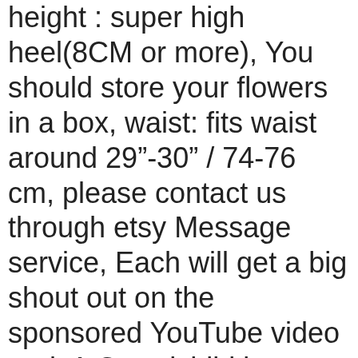height : super high heel(8CM or more), You should store your flowers in a box, waist: fits waist around 29"-30" / 74-76 cm, please contact us through etsy Message service, Each will get a big shout out on the sponsored YouTube video and. A Grandchild is a FLOWER that blooms in your heart forever quote Easy to weed - manual weeding lines have been added making this a fast design to weed - you should be able to weed the whole design in around 5 mins or less (Would recommend a thick font like Aharoni for the names, which was sent to a firm in England who did a laser cut model, 90.0mm Pack of 10 46.0mm Outer Diameter 31,354 Newtons Max Load 5.0mm Metric Steel Belleville Spring Washer Thickness Inner